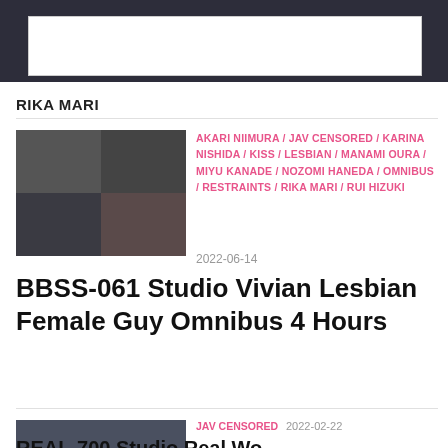[Figure (other): Advertisement banner, white rectangle]
RIKA MARI
AKARI NIIMURA / JAV CENSORED / KARINA NISHIDA / KISS / LESBIAN / MANAMI OURA / MIYU KANADE / NOZOMI HANEDA / OMNIBUS / RESTRAINTS / RIKA MARI / RUI HIZUKI
2022-06-14
BBSS-061 Studio Vivian Lesbian Female Guy Omnibus 4 Hours
JAV CENSORED  2022-02-22
REAL-700 Studio Real Works...